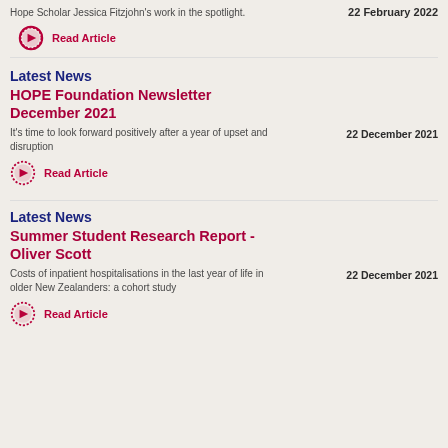Hope Scholar Jessica Fitzjohn's work in the spotlight.
22 February 2022
Read Article
Latest News
HOPE Foundation Newsletter December 2021
It's time to look forward positively after a year of upset and disruption
22 December 2021
Read Article
Latest News
Summer Student Research Report - Oliver Scott
Costs of inpatient hospitalisations in the last year of life in older New Zealanders: a cohort study
22 December 2021
Read Article